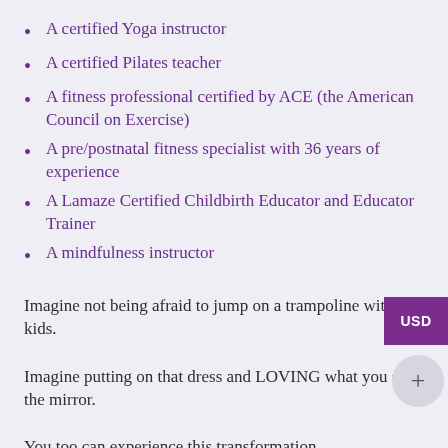A certified Yoga instructor
A certified Pilates teacher
A fitness professional certified by ACE (the American Council on Exercise)
A pre/postnatal fitness specialist with 36 years of experience
A Lamaze Certified Childbirth Educator and Educator Trainer
A mindfulness instructor
Imagine not being afraid to jump on a trampoline with your kids.
Imagine putting on that dress and LOVING what you see in the mirror.
You too can experience this transformation